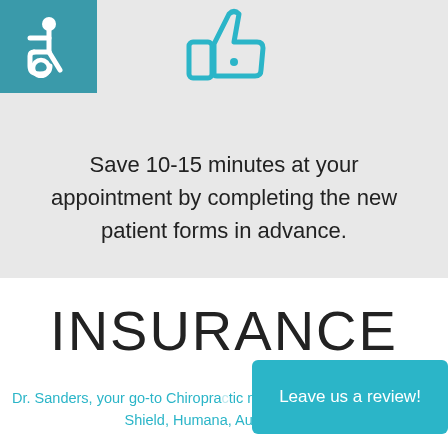[Figure (illustration): Teal/blue background box in top-left corner containing a white wheelchair accessibility icon]
[Figure (illustration): Teal thumbs-up icon centered near the top of the gray section]
Save 10-15 minutes at your appointment by completing the new patient forms in advance.
INSURANCE
Dr. Sanders, your go-to Chiropractic network with Blue Cross Blue Shield, Humana, Auto, VA, and
[Figure (other): Teal button in bottom-right with text 'Leave us a review!']